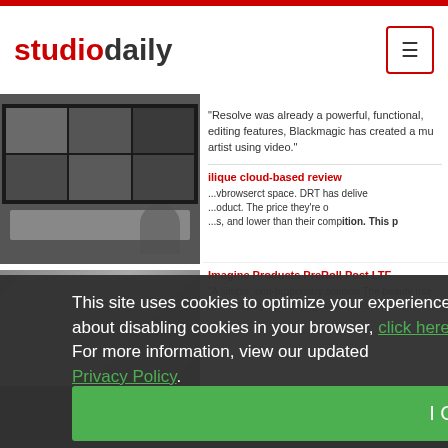studiodaily
[Figure (screenshot): Blackmagic Design video monitors/screens shown in a grid layout]
"Resolve was already a powerful, functional, editing features, Blackmagic has created a mu artist using video."
cloud-based review
product space. DRT has delivered. The price they're and lower than their competition. This p
Imagine Products PreRoll Post LTF
"A simple, non-proprietary solution The beauty use. With virtually no learning curve, PreRoll P
This site uses cookies to optimize your experience including more relevant content and messaging. To learn more about disabling cookies in your browser, click here.  By continuing to use this site, you accept our use of cookies. For more information, view our updated Privacy Policy.
I Consent